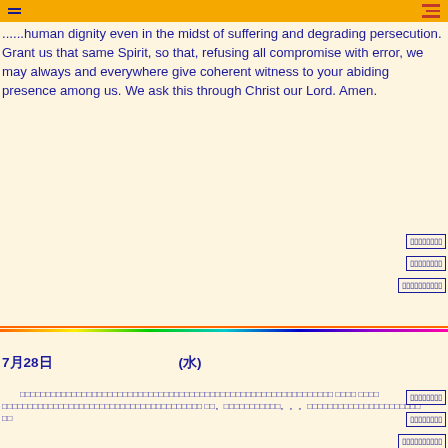... human dignity even in the midst of suffering and degrading persecution. Grant us that same Spirit, so that, refusing all compromise with error, we may always and everywhere give coherent witness to your abiding presence among us. We ask this through Christ our Lord. Amen.
[right-side link boxes - CJK text]
7月28日（CJK text）(水)
[CJK body text paragraph]
[right-side link boxes - CJK text]